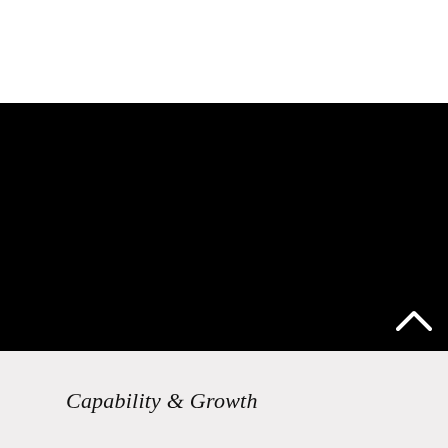[Figure (photo): Large black rectangle occupying the middle band of the page, with a white chevron/caret (upward pointing arrow) in the bottom-right corner.]
Capability & Growth